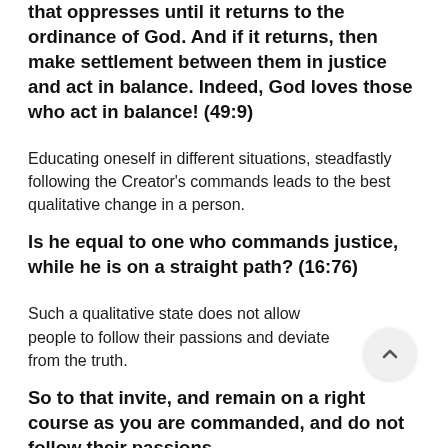that oppresses until it returns to the ordinance of God. And if it returns, then make settlement between them in justice and act in balance. Indeed, God loves those who act in balance! (49:9)
Educating oneself in different situations, steadfastly following the Creator's commands leads to the best qualitative change in a person.
Is he equal to one who commands justice, while he is on a straight path? (16:76)
Such a qualitative state does not allow people to follow their passions and deviate from the truth.
So to that invite, and remain on a right course as you are commanded, and do not follow their passions